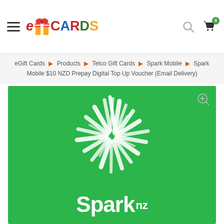eGiftCards navigation header with hamburger menu, logo, search and cart icons
eGift Cards > Products > Telco Gift Cards > Spark Mobile > Spark Mobile $10 NZD Prepay Digital Top Up Voucher (Email Delivery)
[Figure (photo): Spark NZ green gift card product image with white Spark starburst logo and 'Spark nz' text on a green background, with a zoom icon in the top right corner]